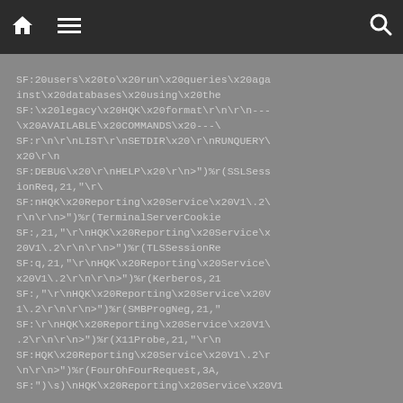Navigation bar with home, menu, and search icons
SF:20users\x20to\x20run\x20queries\x20against\x20databases\x20using\x20the SF:\x20legacy\x20HQK\x20format\r\n\r\n---\x20AVAILABLE\x20COMMANDS\x20---\ SF:r\n\r\nLIST\r\nSETDIR\x20\r\nRUNQUERY\x20\r\n SF:DEBUG\x20\r\nHELP\x20\r\n>")%r(SSLSessionReq,21,"\r\ SF:nHQK\x20Reporting\x20Service\x20V1\.2\r\n\r\n>")%r(TerminalServerCookie SF:,21,"\r\nHQK\x20Reporting\x20Service\x20V1\.2\r\n\r\n>")%r(TLSSessionRe SF:q,21,"\r\nHQK\x20Reporting\x20Service\x20V1\.2\r\n\r\n>")%r(Kerberos,21 SF:,"\r\nHQK\x20Reporting\x20Service\x20V1\ SF:2\r\n\r\n>")%r(SMBProgNeg,21," SF:\r\nHQK\x20Reporting\x20Service\x20V1\.2\r\n\r\n>")%r(X11Probe,21,"\r\n SF:HQK\x20Reporting\x20Service\x20V1\.2\r\n\r\n>")%r(FourOhFourRequest,3A, SF:")\s)\nHQK\x20Reporting\x20Service\x20V1